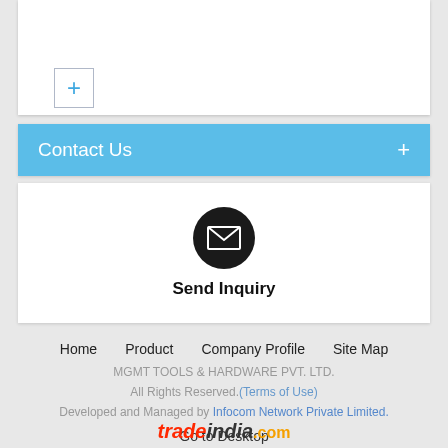[Figure (other): White card with a blue plus button in the upper left area]
Contact Us +
[Figure (other): White card with envelope icon circle and Send Inquiry label]
Home   Product   Company Profile   Site Map
MGMT TOOLS & HARDWARE PVT. LTD.
All Rights Reserved.(Terms of Use)
Developed and Managed by Infocom Network Private Limited.
Go to Desktop
[Figure (logo): tradeindia.com logo]